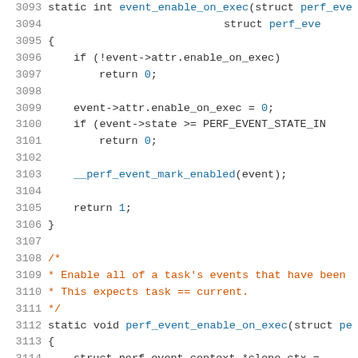[Figure (screenshot): Source code listing showing C code lines 3093-3114, with line numbers in gray, keywords in dark, function names in blue, comments in orange/red, and return values in blue.]